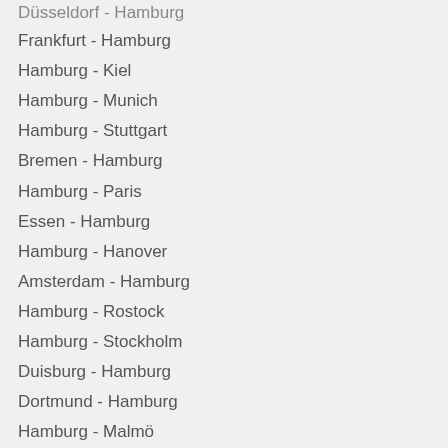Düsseldorf - Hamburg
Frankfurt - Hamburg
Hamburg - Kiel
Hamburg - Munich
Hamburg - Stuttgart
Bremen - Hamburg
Hamburg - Paris
Essen - Hamburg
Hamburg - Hanover
Amsterdam - Hamburg
Hamburg - Rostock
Hamburg - Stockholm
Duisburg - Hamburg
Dortmund - Hamburg
Hamburg - Malmö
Hamburg - Leipzig